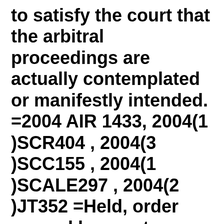to satisfy the court that the arbitral proceedings are actually contemplated or manifestly intended. =2004 AIR 1433, 2004(1 )SCR404 , 2004(3 )SCC155 , 2004(1 )SCALE297 , 2004(2 )JT352 =Held, order passed by court should fall within the meaning of expression 'an interim measure of protection' as distinguished from an alt time of permanent protection-It is a